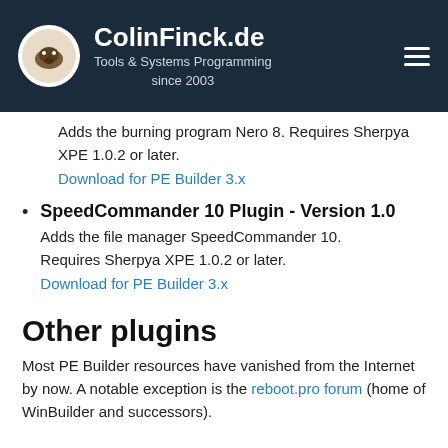ColinFinck.de
Tools & Systems Programming since 2003
Adds the burning program Nero 8. Requires Sherpya XPE 1.0.2 or later.
Download for PE Builder 3.x
SpeedCommander 10 Plugin - Version 1.0
Adds the file manager SpeedCommander 10. Requires Sherpya XPE 1.0.2 or later.
Download for PE Builder 3.x
Other plugins
Most PE Builder resources have vanished from the Internet by now. A notable exception is the reboot.pro forum (home of WinBuilder and successors).